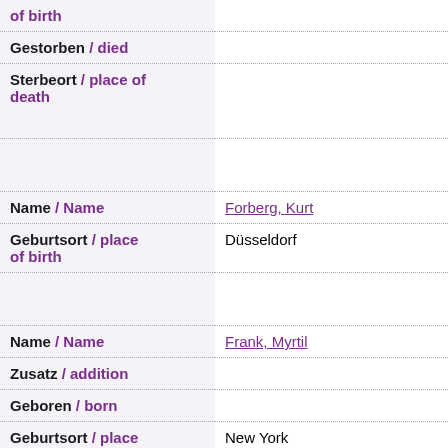| Field | Value |
| --- | --- |
| of birth |  |
| Gestorben / died |  |
| Sterbeort / place of death |  |
|  |  |
| Name / Name | Forberg, Kurt |
| Geburtsort / place of birth | Düsseldorf |
|  |  |
| Name / Name | Frank, Myrtil |
| Zusatz / addition |  |
| Geboren / born |  |
| Geburtsort / place of birth | New York |
| Gestorben / died |  |
| Sterbeort / place of death |  |